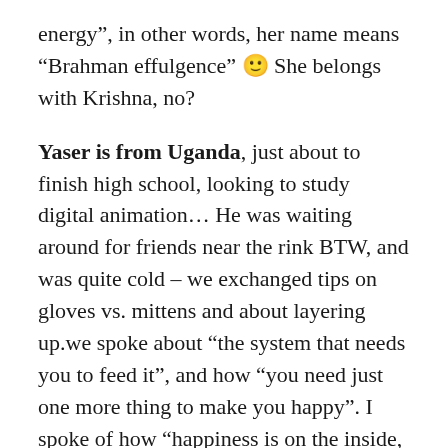energy”, in other words, her name means “Brahman effulgence” 🙂 She belongs with Krishna, no?
Yaser is from Uganda, just about to finish high school, looking to study digital animation… He was waiting around for friends near the rink BTW, and was quite cold – we exchanged tips on gloves vs. mittens and about layering up.we spoke about “the system that needs you to feed it”, and how “you need just one more thing to make you happy”. I spoke of how “happiness is on the inside, not on the outside” and he was sold. He took books, chanted the Mahamantra, and promised to attend one of the events.